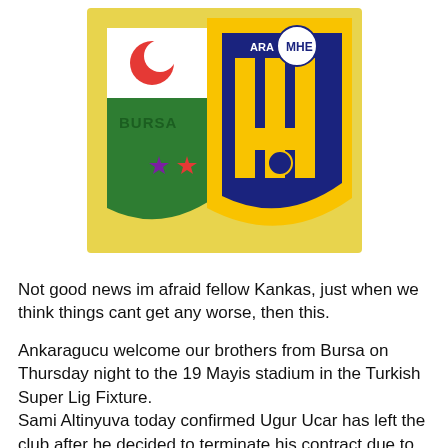[Figure (logo): Two Turkish football club logos merged together — Bursaspor (green/white shield with Turkish crescent and star) on the left and MKE Ankaragücü (yellow and navy blue shield with MHE text) on the right, set against a yellow glowing background.]
Not good news im afraid fellow Kankas, just when we think things cant get any worse, then this.
Ankaragucu welcome our brothers from Bursa on Thursday night to the 19 Mayis stadium in the Turkish Super Lig Fixture.
Sami Altinyuva today confirmed Ugur Ucar has left the club after he decided to terminate his contract due to unpaid wages. Ugur along with Ozgur Cek and Tonia Tisdell went to the Turkish FA and have won the right to terminate there contracts.